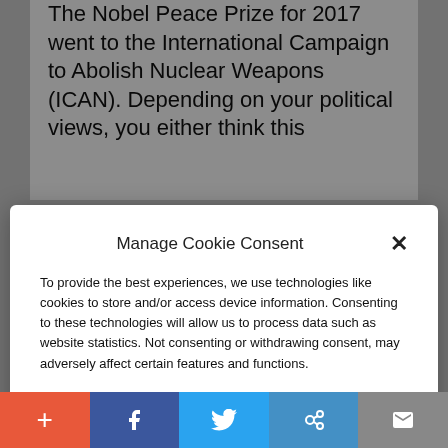The Nobel Peace Prize for 2017 went to the International Campaign to Abolish Nuclear Weapons (ICAN). Depending on your political views, you either think this
Manage Cookie Consent
To provide the best experiences, we use technologies like cookies to store and/or access device information. Consenting to these technologies will allow us to process data such as website statistics. Not consenting or withdrawing consent, may adversely affect certain features and functions.
Accept
Cookie Policy   Privacy Policy
Mikhail Gorbachev. Isn't it odd that President Ronald Reagan – arguably the